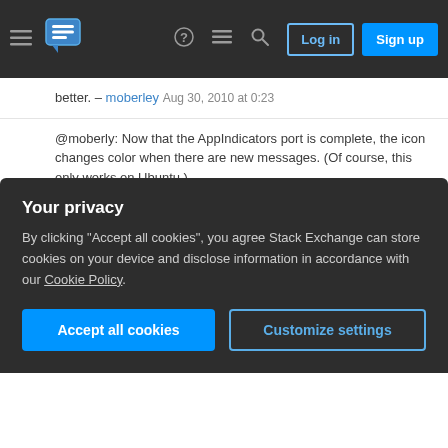Stack Exchange navigation bar with hamburger menu, logo, icons, Log in and Sign up buttons
better. – moberley Aug 30, 2010 at 0:23
@moberly: Now that the AppIndicators port is complete, the icon changes color when there are new messages. (Of course, this only works on Ubuntu.) – Nathan Osman  Oct 20, 2010 at 18:53
@moberly: This now works everywhere. – Nathan Osman  May 12, 2011 at 16:53
Add a comment
If you're going to Appindicators I'd like to see this
Your privacy
By clicking "Accept all cookies", you agree Stack Exchange can store cookies on your device and disclose information in accordance with our Cookie Policy.
Accept all cookies
Customize settings